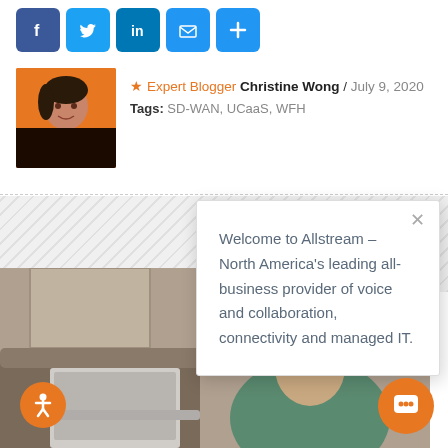[Figure (infographic): Row of five social media sharing icons: Facebook (blue), Twitter (blue bird), LinkedIn (blue), Email (blue envelope), More/Plus (blue plus sign)]
★ Expert Blogger Christine Wong / July 9, 2020
Tags: SD-WAN, UCaaS, WFH
[Figure (photo): Headshot photo of Christine Wong, an Asian woman with short dark hair, smiling, against an orange background]
[Figure (photo): Background photo showing a person at a laptop, appearing stressed with hands on head, in a home office setting]
Welcome to Allstream – North America's leading all-business provider of voice and collaboration, connectivity and managed IT.